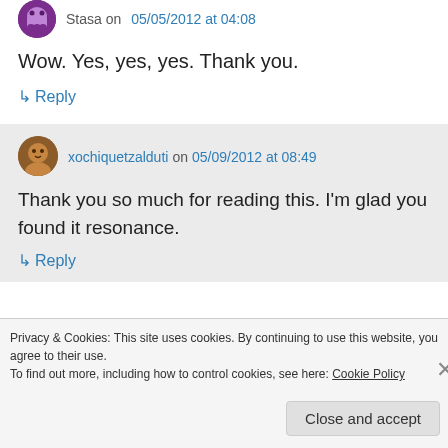Stasa on 05/05/2012 at 04:08
Wow. Yes, yes, yes. Thank you.
↳ Reply
xochiquetzalduti on 05/09/2012 at 08:49
Thank you so much for reading this. I'm glad you found it resonance.
↳ Reply
Privacy & Cookies: This site uses cookies. By continuing to use this website, you agree to their use. To find out more, including how to control cookies, see here: Cookie Policy
Close and accept